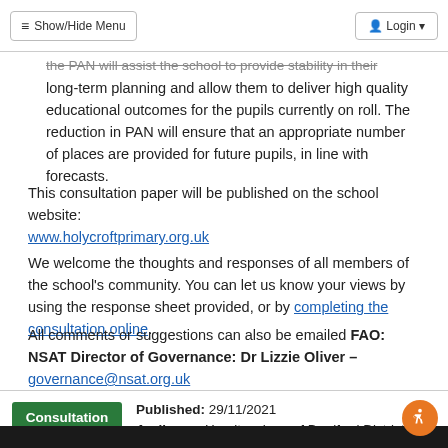Show/Hide Menu   Login
the PAN will assist the school to provide stability in their long-term planning and allow them to deliver high quality educational outcomes for the pupils currently on roll. The reduction in PAN will ensure that an appropriate number of places are provided for future pupils, in line with forecasts.
This consultation paper will be published on the school website: www.holycroftprimary.org.uk
We welcome the thoughts and responses of all members of the school's community. You can let us know your views by using the response sheet provided, or by completing the consultation online.
All comments or suggestions can also be emailed FAO: NSAT Director of Governance: Dr Lizzie Oliver – governance@nsat.org.uk
Consultation   Published: 29/11/2021   Audience: Headteachers of Bradford District Primary and Nursery Schools